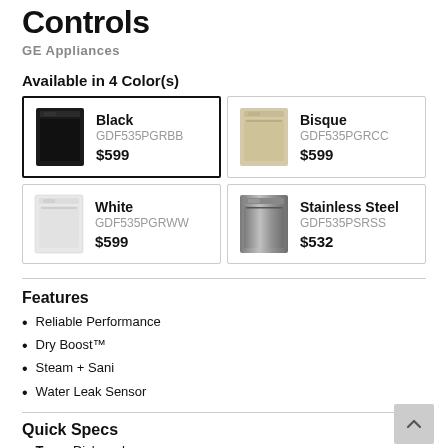Controls
GE Appliances
Available in 4 Color(s)
| Image | Color | SKU | Price |
| --- | --- | --- | --- |
| [black appliance image] | Black | GDF535PGRBB | $599 |
| [bisque appliance image] | Bisque | GDF535PGRCC | $599 |
| [white appliance image] | White | GDF535PGRWW | $599 |
| [stainless steel appliance image] | Stainless Steel | GDF535PSRSS | $532 |
Features
Reliable Performance
Dry Boost™
Steam + Sani
Water Leak Sensor
Quick Specs
Type: Dishwasher